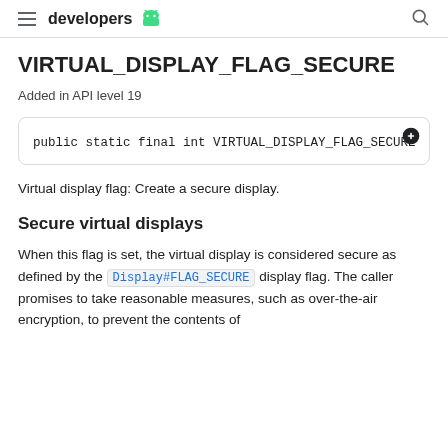developers
VIRTUAL_DISPLAY_FLAG_SECURE
Added in API level 19
public static final int VIRTUAL_DISPLAY_FLAG_SECURE
Virtual display flag: Create a secure display.
Secure virtual displays
When this flag is set, the virtual display is considered secure as defined by the Display#FLAG_SECURE display flag. The caller promises to take reasonable measures, such as over-the-air encryption, to prevent the contents of